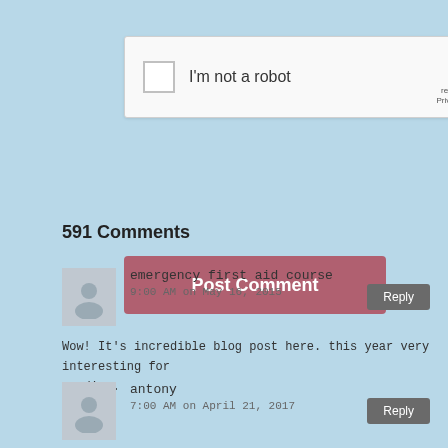[Figure (screenshot): reCAPTCHA widget with checkbox labeled 'I'm not a robot', reCAPTCHA logo and Privacy/Terms links, and a gray menu icon with red horizontal lines]
Post Comment
591 Comments
emergency first aid course
9:00 AM on May 16, 2015
Wow! It's incredible blog post here. this year very interesting for reading.
antony
7:00 AM on April 21, 2017
nice
www.assignmentcrux.co.uk